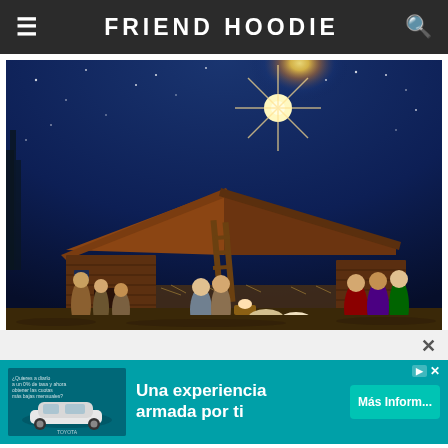FRIEND HOODIE
[Figure (photo): Christmas nativity scene with a wooden stable, figurines of the Holy Family, shepherds, and wise men, under a starry night sky with a bright star shining above]
[Figure (infographic): Advertisement banner for Toyota with teal background showing a car on the left and text 'Una experiencia armada por ti' with a 'Más Inform...' button]